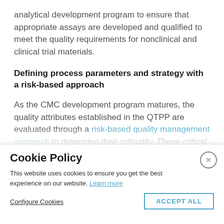analytical development program to ensure that appropriate assays are developed and qualified to meet the quality requirements for nonclinical and clinical trial materials.
Defining process parameters and strategy with a risk-based approach
As the CMC development program matures, the quality attributes established in the QTPP are evaluated through a risk-based quality management approach to determine their criticality. These critical quality attributes are
Cookie Policy
This website uses cookies to ensure you get the best experience on our website. Learn more
Configure Cookies
ACCEPT ALL